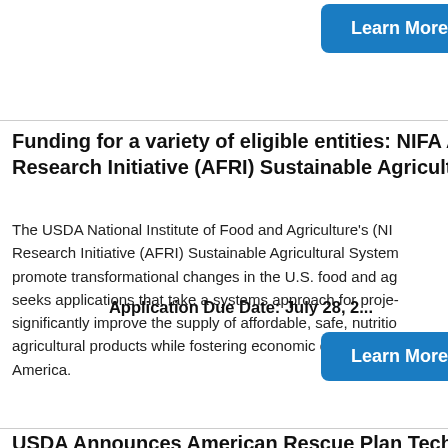[Figure (other): Blue 'Learn More' button at top right]
Funding for a variety of eligible entities: NIFA Agricultural Food Research Initiative (AFRI) Sustainable Agriculture...
The USDA National Institute of Food and Agriculture's (NIFA) Agricultural Food Research Initiative (AFRI) Sustainable Agricultural Systems program seeks to promote transformational changes in the U.S. food and agriculture system. It seeks applications that take a systems approach for projects that will significantly improve the supply of affordable, safe, nutritious, and agricultural products while fostering economic development in rural America.
Application Due Date: July 28, 2...
[Figure (other): Blue 'Learn More' button]
USDA Announces American Rescue Plan Techno...